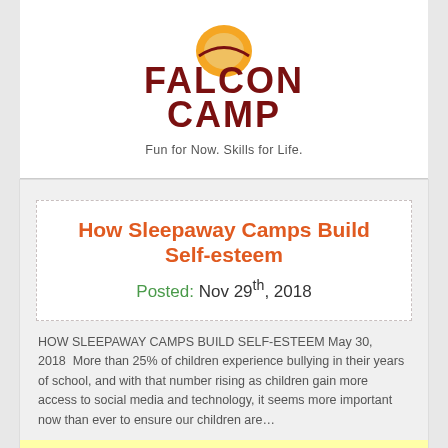[Figure (logo): Falcon Camp logo with orange falcon/basketball icon, dark red bold text reading FALCON CAMP, tagline: Fun for Now. Skills for Life.]
How Sleepaway Camps Build Self-esteem
Posted: Nov 29th, 2018
HOW SLEEPAWAY CAMPS BUILD SELF-ESTEEM May 30, 2018   More than 25% of children experience bullying in their years of school, and with that number rising as children gain more access to social media and technology, it seems more important now than ever to ensure our children are…
View All Falcon Camp Reviews and Articles